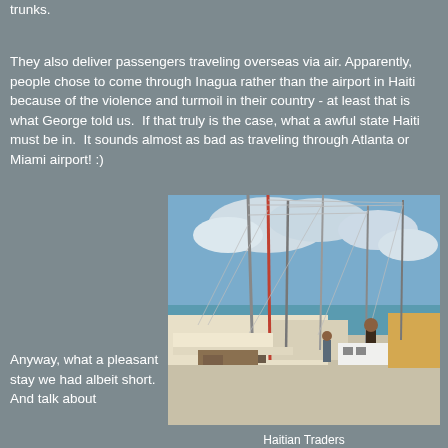trunks.
They also deliver passengers traveling overseas via air. Apparently, people chose to come through Inagua rather than the airport in Haiti because of the violence and turmoil in their country - at least that is what George told us.  If that truly is the case, what a awful state Haiti must be in.  It sounds almost as bad as traveling through Atlanta or Miami airport! :)
[Figure (photo): Haitian Traders - sailing boats docked at a pier with masts and rigging visible, people standing on the dock, blue sky with clouds]
Haitian Traders
Anyway, what a pleasant stay we had albeit short. And talk about